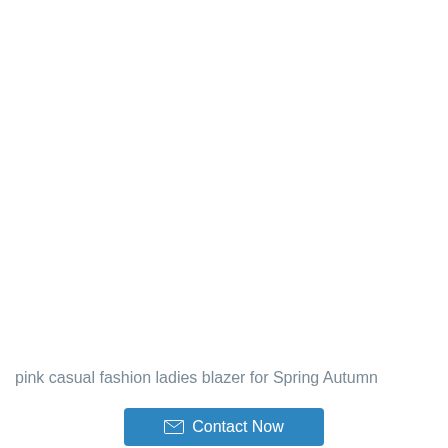pink casual fashion ladies blazer for Spring Autumn
Contact Now